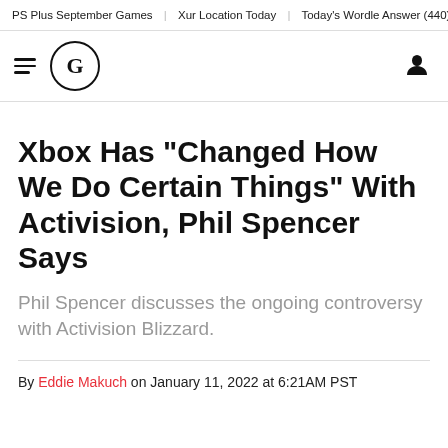PS Plus September Games | Xur Location Today | Today's Wordle Answer (440) | King's F
Xbox Has "Changed How We Do Certain Things" With Activision, Phil Spencer Says
Phil Spencer discusses the ongoing controversy with Activision Blizzard.
By Eddie Makuch on January 11, 2022 at 6:21AM PST